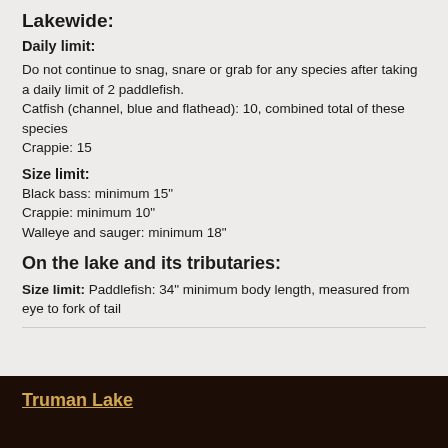Lakewide:
Daily limit:
Do not continue to snag, snare or grab for any species after taking a daily limit of 2 paddlefish.
Catfish (channel, blue and flathead): 10, combined total of these species
Crappie: 15
Size limit:
Black bass: minimum 15"
Crappie: minimum 10"
Walleye and sauger: minimum 18"
On the lake and its tributaries:
Size limit: Paddlefish: 34" minimum body length, measured from eye to fork of tail
Truman Lake